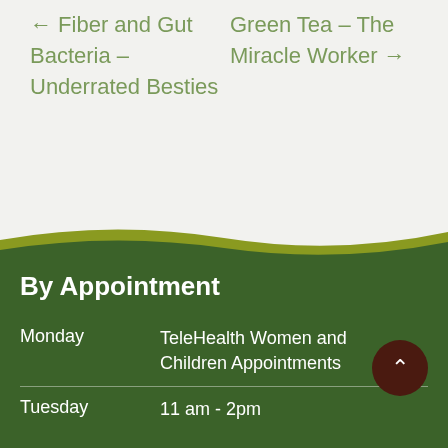← Fiber and Gut Bacteria – Underrated Besties
Green Tea – The Miracle Worker →
By Appointment
Monday — TeleHealth Women and Children Appointments
Tuesday — 11 am - 2pm